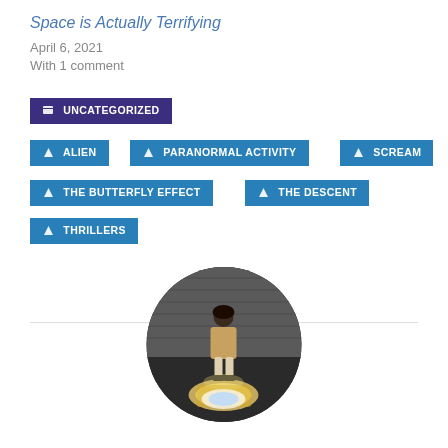Space is Actually Terrifying
April 6, 2021
With 1 comment
UNCATEGORIZED
ALIEN
PARANORMAL ACTIVITY
SCREAM
THE BUTTERFLY EFFECT
THE DESCENT
THRILLERS
[Figure (photo): Circular avatar photo of a person standing indoors on a light-up floor display]